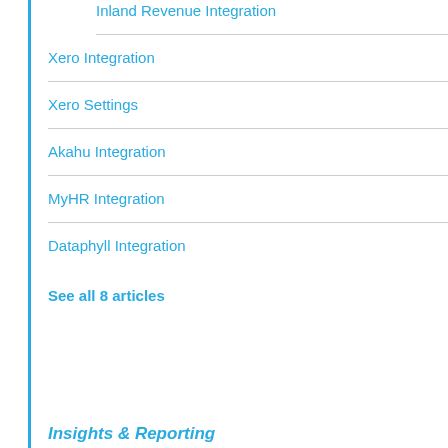Inland Revenue Integration
Xero Integration
Xero Settings
Akahu Integration
MyHR Integration
Dataphyll Integration
See all 8 articles
Insights & Reporting